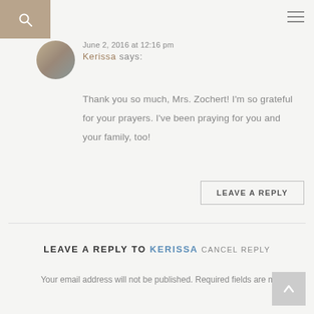search / menu navigation bar
June 2, 2016 at 12:16 pm
Kerissa says:
Thank you so much, Mrs. Zochert! I'm so grateful for your prayers. I've been praying for you and your family, too!
LEAVE A REPLY
LEAVE A REPLY TO KERISSA CANCEL REPLY
Your email address will not be published. Required fields are marked *